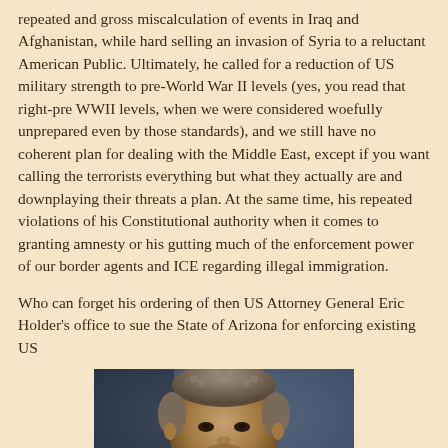repeated and gross miscalculation of events in Iraq and Afghanistan, while hard selling an invasion of Syria to a reluctant American Public. Ultimately, he called for a reduction of US military strength to pre-World War II levels (yes, you read that right-pre WWII levels, when we were considered woefully unprepared even by those standards), and we still have no coherent plan for dealing with the Middle East, except if you want calling the terrorists everything but what they actually are and downplaying their threats a plan. At the same time, his repeated violations of his Constitutional authority when it comes to granting amnesty or his gutting much of the enforcement power of our border agents and ICE regarding illegal immigration.
Who can forget his ordering of then US Attorney General Eric Holder's office to sue the State of Arizona for enforcing existing US
[Figure (photo): Photograph of a man's head and shoulders, with short curly gray hair, against a blue background]